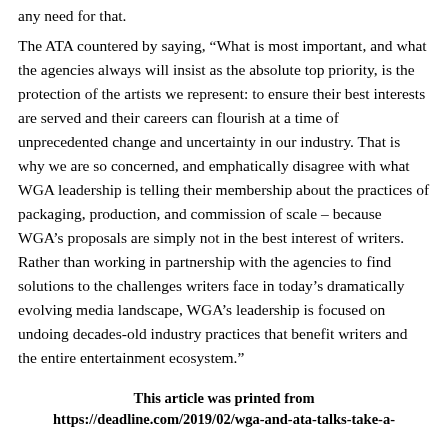any need for that.
The ATA countered by saying, “What is most important, and what the agencies always will insist as the absolute top priority, is the protection of the artists we represent: to ensure their best interests are served and their careers can flourish at a time of unprecedented change and uncertainty in our industry. That is why we are so concerned, and emphatically disagree with what WGA leadership is telling their membership about the practices of packaging, production, and commission of scale – because WGA’s proposals are simply not in the best interest of writers. Rather than working in partnership with the agencies to find solutions to the challenges writers face in today’s dramatically evolving media landscape, WGA’s leadership is focused on undoing decades-old industry practices that benefit writers and the entire entertainment ecosystem.”
This article was printed from
https://deadline.com/2019/02/wga-and-ata-talks-take-a-
...